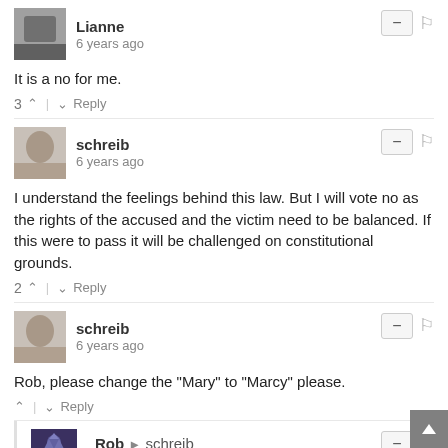Lianne · 6 years ago · It is a no for me. · 3 · Reply
schreib · 6 years ago · I understand the feelings behind this law. But I will vote no as the rights of the accused and the victim need to be balanced. If this were to pass it will be challenged on constitutional grounds. · 2 · Reply
schreib · 6 years ago · Rob, please change the "Mary" to "Marcy" please. · Reply
Rob → schreib · 6 years ago · It's actually Marsy's, and I did.